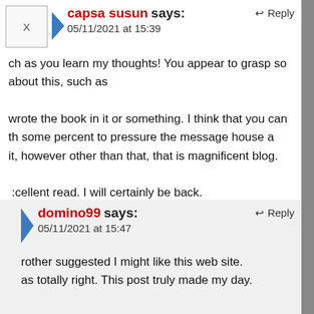capsa susun says: 05/11/2021 at 15:39
ch as you learn my thoughts! You appear to grasp so about this, such as wrote the book in it or something. I think that you can th some percent to pressure the message house a it, however other than that, that is magnificent blog. cellent read. I will certainly be back.
domino99 says: 05/11/2021 at 15:47
rother suggested I might like this web site. as totally right. This post truly made my day.